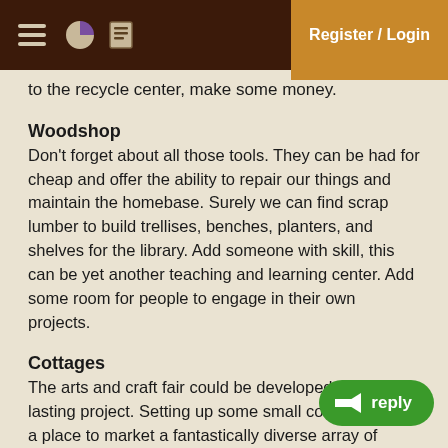Register / Login
to the recycle center, make some money.
Woodshop
Don't forget about all those tools. They can be had for cheap and offer the ability to repair our things and maintain the homebase. Surely we can find scrap lumber to build trellises, benches, planters, and shelves for the library. Add someone with skill, this can be yet another teaching and learning center. Add some room for people to engage in their own projects.
Cottages
The arts and craft fair could be developed into a lasting project. Setting up some small cottages offers a place to market a fantastically diverse array of goods. a bookstore, a snack shop, an art shop, a sculpture shop. Here's a consignment shop, there a 2nd That guy over here has leather hats and saddles. Next month it's a young lady with skirts and accessories. Christmastime has Santa's visit to North Pole setting